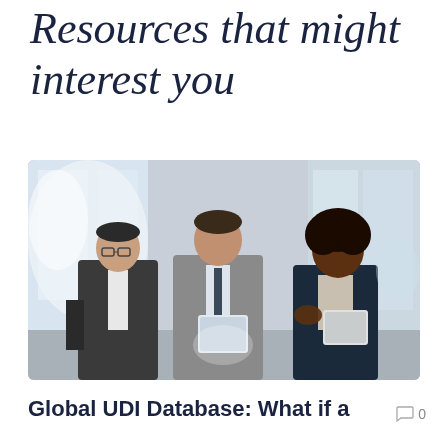Resources that might interest you
[Figure (photo): Three business professionals in an office lobby looking at a tablet device together. Two men in suits and one woman in a dark blazer.]
Global UDI Database: What if a
0